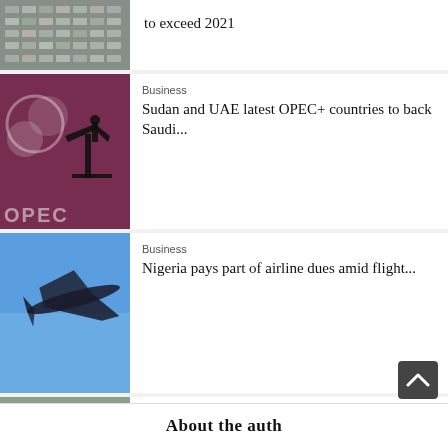[Figure (photo): Aerial view of a car park lot with many vehicles]
to exceed 2021
[Figure (photo): OPEC logo and oil pump silhouette on red background]
Business
Sudan and UAE latest OPEC+ countries to back Saudi...
[Figure (photo): Airplane silhouette against blue sky]
Business
Nigeria pays part of airline dues amid flight...
[Figure (photo): Factory floor with workers in blue uniforms]
Business
China's industrial profits down 1.1% in first 7 months
[Figure (photo): Man at stock trading screens with green data displays]
Business
Stocks slump after Fed chair vows tough inflation fight